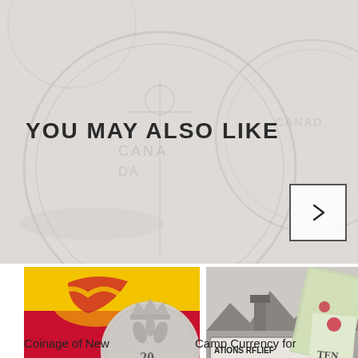[Figure (illustration): Background area with faded gray coin watermark images and decorative coin impressions]
YOU MAY ALSO LIKE
[Figure (illustration): Navigation forward arrow button (right-pointing chevron) in a square border]
[Figure (photo): Photo of New Brunswick flag with red and gold lion plus a silver coin showing '20 CENTS 186[x]']
[Figure (photo): Black and white photo of a sign reading 'ATIONS RFLIEF AND IN ADMINISTRATION PERSONS CENTRE' with currency notes overlay]
Coinage of New
Camp Currency for